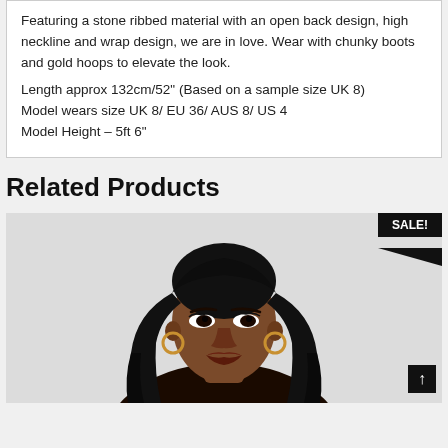Featuring a stone ribbed material with an open back design, high neckline and wrap design, we are in love. Wear with chunky boots and gold hoops to elevate the look.
Length approx 132cm/52" (Based on a sample size UK 8)
Model wears size UK 8/ EU 36/ AUS 8/ US 4
Model Height – 5ft 6"
Related Products
[Figure (photo): A model with long wavy dark hair wearing a dark outfit, photographed from the shoulders up against a light grey background. A black 'SALE!' badge with scroll arrow is overlaid in the top-right corner.]